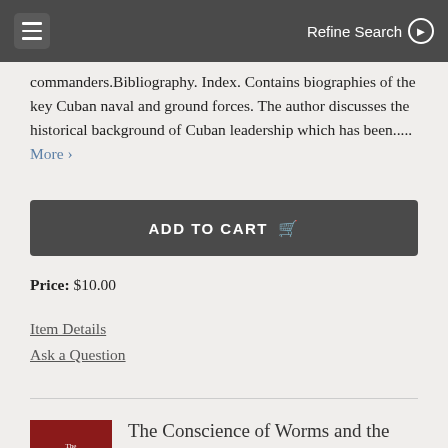Refine Search
commanders.Bibliography. Index. Contains biographies of the key Cuban naval and ground forces. The author discusses the historical background of Cuban leadership which has been..... More >
ADD TO CART
Price: $10.00
Item Details
Ask a Question
The Conscience of Worms and the Cowardice of Lions: Cuban Politics and Cu...